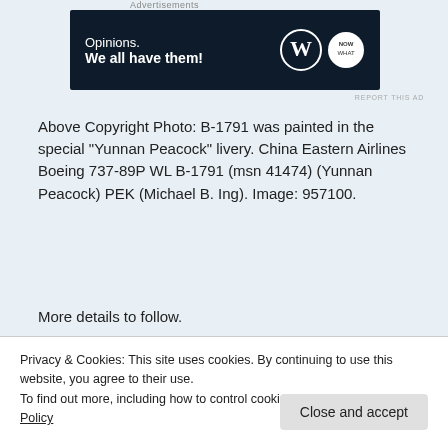Advertisements
[Figure (screenshot): Advertisement banner with dark navy background reading 'Opinions. We all have them!' with WordPress and another logo on the right.]
REPORT THIS AD
Above Copyright Photo: B-1791 was painted in the special "Yunnan Peacock" livery. China Eastern Airlines Boeing 737-89P WL B-1791 (msn 41474) (Yunnan Peacock) PEK (Michael B. Ing). Image: 957100.
More details to follow.
[Figure (screenshot): Embedded tweet from ChinaAviationReview (@ChinaAvReview) dated Mar 21, 2022, with Follow link and Twitter bird icon.]
Privacy & Cookies: This site uses cookies. By continuing to use this website, you agree to their use.
To find out more, including how to control cookies, see here: Cookie Policy
Close and accept